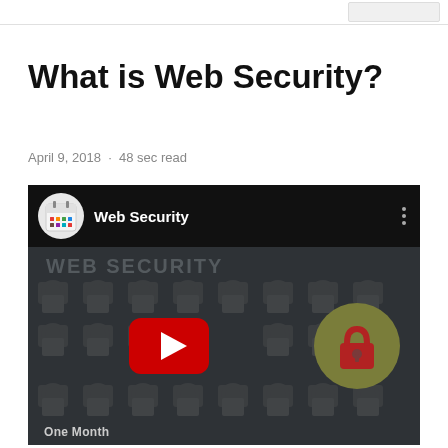What is Web Security?
April 9, 2018 · 48 sec read
[Figure (screenshot): A YouTube video embed thumbnail showing a playlist titled 'Web Security' with a calendar icon channel logo, a red YouTube play button in the center, an olive-green circle with a padlock icon, a grid of padlock icons in the background, and the text 'WEB SECURITY' at the top. At the bottom, text reads 'One Month'.]